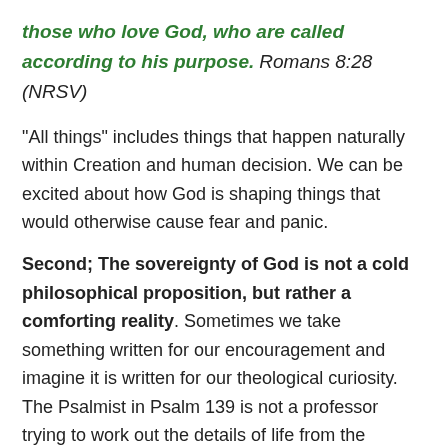those who love God, who are called according to his purpose. Romans 8:28 (NRSV)
“All things” includes things that happen naturally within Creation and human decision. We can be excited about how God is shaping things that would otherwise cause fear and panic.
Second; The sovereignty of God is not a cold philosophical proposition, but rather a comforting reality. Sometimes we take something written for our encouragement and imagine it is written for our theological curiosity. The Psalmist in Psalm 139 is not a professor trying to work out the details of life from the comfort of a Lazyboy in preparation for a lecture. The Psalmist is someone going through real life struggles. We might summarize the whole of Psalm 139 like this: “I can hide